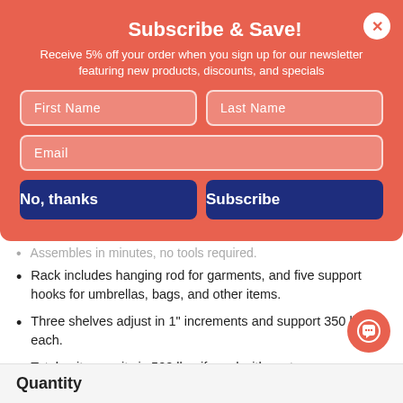Subscribe & Save!
Receive 5% off your order when you sign up for our newsletter featuring new products, discounts, and specials
[Figure (other): Close (X) button for modal dialog]
[Figure (infographic): Email subscription form with First Name, Last Name, Email fields and No thanks / Subscribe buttons]
Assembles in minutes, no tools required.
Rack includes hanging rod for garments, and five support hooks for umbrellas, bags, and other items.
Three shelves adjust in 1" increments and support 350 lbs. each.
Total unit capacity is 500 lbs. if used with casters.
Open design allows air circulation and prevents dust buildup.
Hangers not included.
Ships in 2-3 Business Days
Quantity